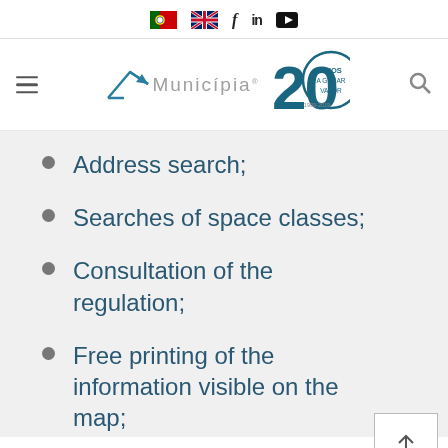PT | EN | f | in | YouTube — Municípia 20 Anos a Gerar Valor 1999-2019
[Figure (logo): Municípia logo with arrow icon and 20 Anos a Gerar Valor 1999-2019 anniversary badge]
Address search;
Searches of space classes;
Consultation of the regulation;
Free printing of the information visible on the map;